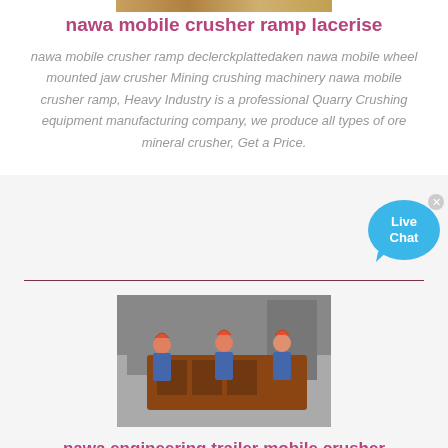[Figure (photo): Top partial image of industrial equipment or machinery (cropped at top)]
nawa mobile crusher ramp lacerise
nawa mobile crusher ramp declerckplattedaken nawa mobile wheel mounted jaw crusher Mining crushing machinery nawa mobile crusher ramp, Heavy Industry is a professional Quarry Crushing equipment manufacturing company, we produce all types of ore mineral crusher, Get a Price.
[Figure (illustration): Live Chat button/bubble in blue]
[Figure (photo): Photo of three workers in hard hats working on large industrial crusher equipment in a factory/workshop setting]
nawa engineering trailer mobile crusher